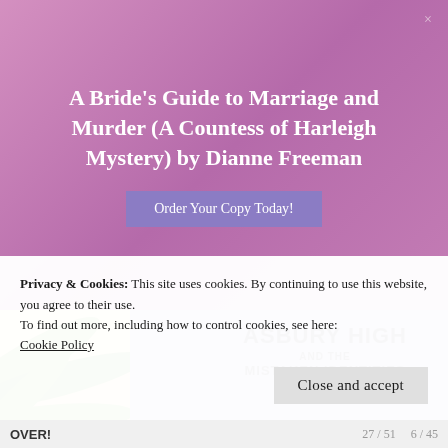A Bride's Guide to Marriage and Murder (A Countess of Harleigh Mystery) by Dianne Freeman
Order Your Copy Today!
[Figure (photo): Two book covers side by side. Left: 'Asbury High and the Mistaken Identities' on a purple background with silhouettes and a building illustration. Right: 'Asbury High and the Kidnapper's Drive' on a red background with silhouettes and a 'MISSING' poster illustration.]
Privacy & Cookies: This site uses cookies. By continuing to use this website, you agree to their use.
To find out more, including how to control cookies, see here:
Cookie Policy
Close and accept
OVER!